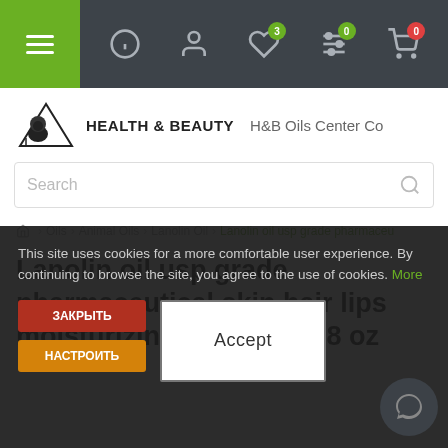Navigation bar with menu, info, account, wishlist (3), filter (0), cart (0) icons
[Figure (logo): Health & Beauty logo with lion silhouette]
H&B Oils Center Co
Search
Home > Oils > Animal Oils > Lanolin Oil > Lanolin oil usp grade pharmace...
Lanolin oil usp grade pharmaceutical skin hair lips moisturizing 100% pure 8 oz
This site uses cookies for a more comfortable user experience. By continuing to browse the site, you agree to the use of cookies. More
Accept